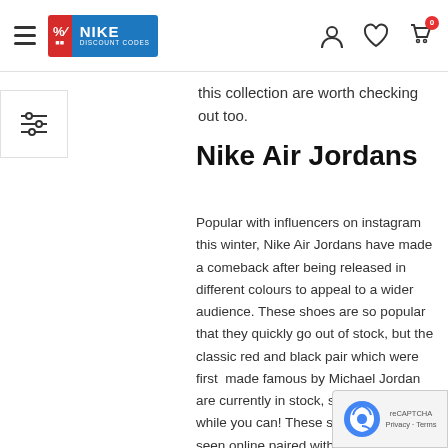Nike Discount Codes — site header with hamburger menu, logo, and icons (user, heart, cart with 0)
this collection are worth checking out too.
Nike Air Jordans
Popular with influencers on instagram this winter, Nike Air Jordans have made a comeback after being released in different colours to appeal to a wider audience. These shoes are so popular that they quickly go out of stock, but the classic red and black pair which were first  made famous by Michael Jordan are currently in stock, so  grab them while you can! These shoes have been seen online paired with black leather-look straight fit trousers, or flared blue jeans f more casual style.